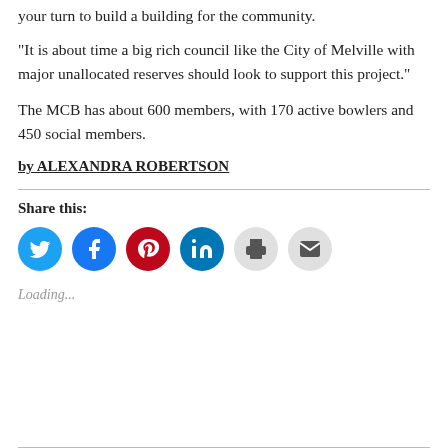your turn to build a building for the community.
“It is about time a big rich council like the City of Melville with major unallocated reserves should look to support this project.”
The MCB has about 600 members, with 170 active bowlers and 450 social members.
by ALEXANDRA ROBERTSON
Share this:
[Figure (infographic): Social sharing icons: Twitter (blue), Facebook (blue), Pinterest (red), LinkedIn (dark blue), Print (light gray), Email (light gray)]
Loading...